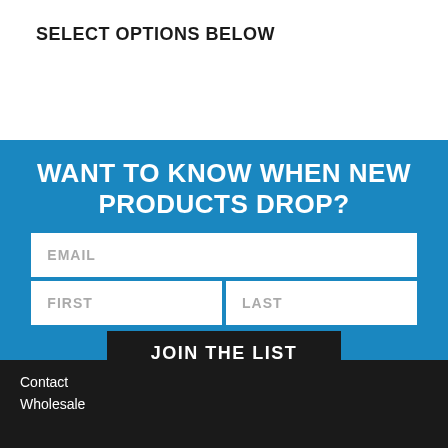SELECT OPTIONS BELOW
WANT TO KNOW WHEN NEW PRODUCTS DROP?
EMAIL
FIRST
LAST
JOIN THE LIST
Contact
Wholesale